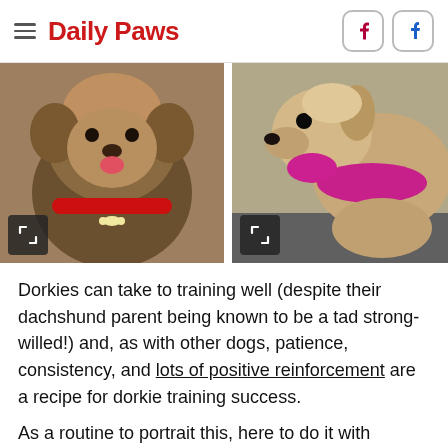Daily Paws
[Figure (photo): Two photos of dorkie dogs side by side. Left: a small fluffy dog with tongue out wearing a red collar with a bone tag. Right: a small dog wearing a pink/magenta bandana or shirt, viewed from the side in profile.]
Dorkies can take to training well (despite their dachshund parent being known to be a tad strong-willed!) and, as with other dogs, patience, consistency, and lots of positive reinforcement are a recipe for dorkie training success.
As a routine to portrait this, here to do it with